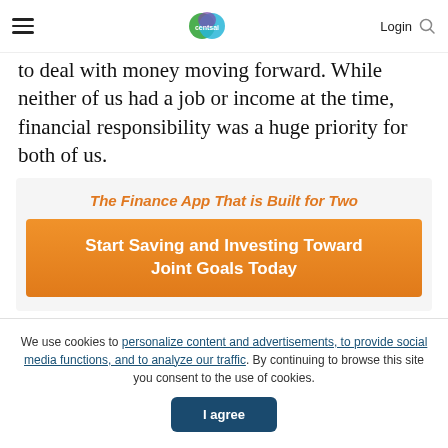centsai — Login
to deal with money moving forward. While neither of us had a job or income at the time, financial responsibility was a huge priority for both of us.
[Figure (infographic): Advertisement box for a finance app with orange italic title 'The Finance App That is Built for Two' and an orange call-to-action button 'Start Saving and Investing Toward Joint Goals Today']
We use cookies to personalize content and advertisements, to provide social media functions, and to analyze our traffic. By continuing to browse this site you consent to the use of cookies.
I agree